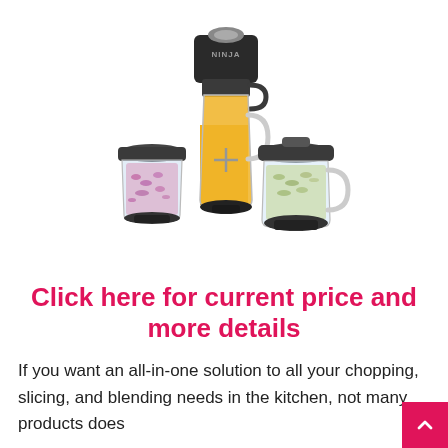[Figure (photo): Ninja blender/food processor set with three containers: a tall clear pitcher filled with orange liquid with black motor unit on top, a small cylindrical jar with chopped red onions, and a larger clear pitcher with chopped food, all on a white background.]
Click here for current price and more details
If you want an all-in-one solution to all your chopping, slicing, and blending needs in the kitchen, not many products does